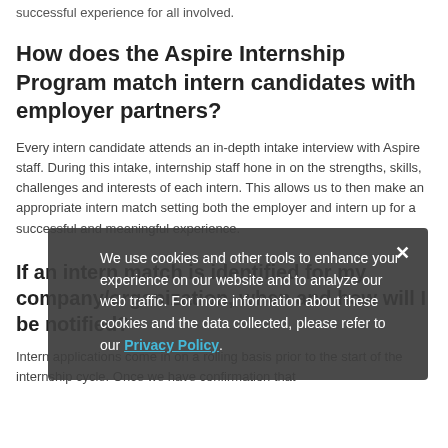successful experience for all involved.
How does the Aspire Internship Program match intern candidates with employer partners?
Every intern candidate attends an in-depth intake interview with Aspire staff. During this intake, internship staff hone in on the strengths, skills, challenges and interests of each intern. This allows us to then make an appropriate intern match setting both the employer and intern up for a successful and meaningful experience.
If an intern match is identified for my company/organization, when and how will I be notified?
Intern applications come in on a rolling basis prior to the start of the internship cycle. Once we have confirmation that
We use cookies and other tools to enhance your experience on our website and to analyze our web traffic. For more information about these cookies and the data collected, please refer to our Privacy Policy.